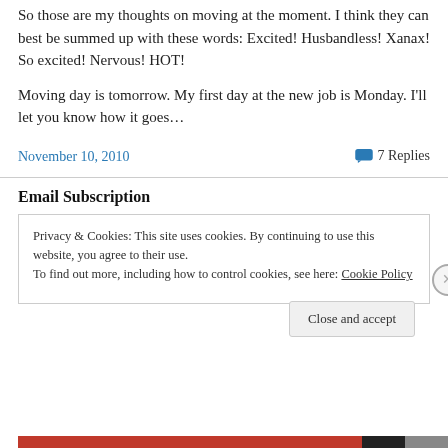So those are my thoughts on moving at the moment. I think they can best be summed up with these words: Excited! Husbandless! Xanax! So excited! Nervous! HOT!
Moving day is tomorrow. My first day at the new job is Monday. I'll let you know how it goes…
November 10, 2010
7 Replies
Email Subscription
Privacy & Cookies: This site uses cookies. By continuing to use this website, you agree to their use.
To find out more, including how to control cookies, see here: Cookie Policy
Close and accept